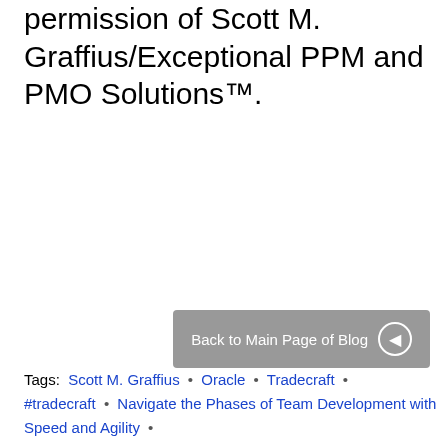permission of Scott M. Graffius/Exceptional PPM and PMO Solutions™.
[Figure (other): Back to Main Page of Blog button with arrow icon, gray rounded rectangle button]
Tags: Scott M. Graffius • Oracle • Tradecraft • #tradecraft • Navigate the Phases of Team Development with Speed and Agility •